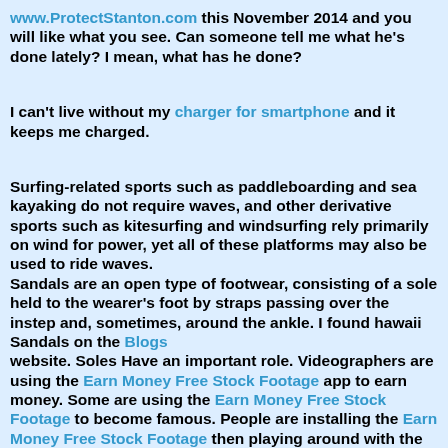www.ProtectStanton.com this November 2014 and you will like what you see. Can someone tell me what he's done lately? I mean, what has he done?
I can't live without my charger for smartphone and it keeps me charged.
Surfing-related sports such as paddleboarding and sea kayaking do not require waves, and other derivative sports such as kitesurfing and windsurfing rely primarily on wind for power, yet all of these platforms may also be used to ride waves. Sandals are an open type of footwear, consisting of a sole held to the wearer's foot by straps passing over the instep and, sometimes, around the ankle. I found hawaii Sandals on the Blogs website. Soles Have an important role. Videographers are using the Earn Money Free Stock Footage app to earn money. Some are using the Earn Money Free Stock Footage to become famous. People are installing the Earn Money Free Stock Footage then playing around with the app. I got the active socks from here earn